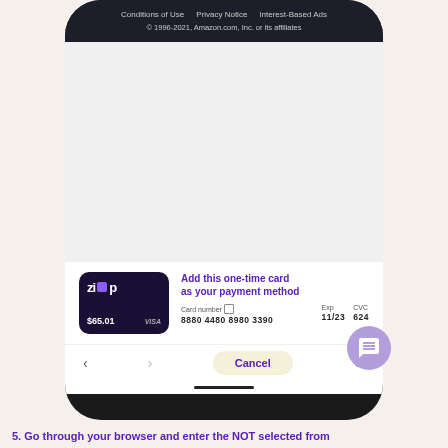[Figure (screenshot): Screenshot of a mobile phone showing a Zip payment app integration with Amazon. The phone display shows Amazon footer links (Conditions of Use, Privacy Notice, Interest-Based Ads, copyright 1996-2021), a browser content area, and a card panel with a Zip virtual card showing $65.01, card number 8880 4480 8980 3390, Exp 11/23, CVC 624, with prompt 'Add this one-time card as your payment method'. Navigation bar with back/forward arrows, Cancel button, and refresh icon. A purple chat bubble icon in lower right.]
5. Go through your browser and enter the NOT selected from